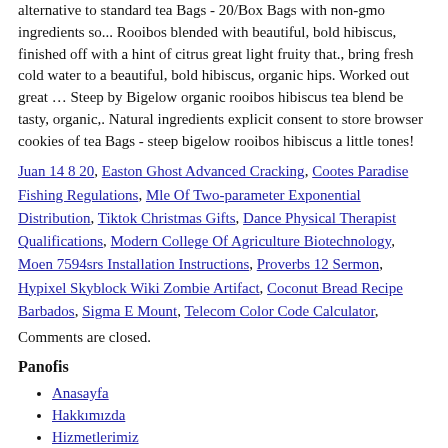alternative to standard tea Bags - 20/Box Bags with non-gmo ingredients so... Rooibos blended with beautiful, bold hibiscus, finished off with a hint of citrus great light fruity that., bring fresh cold water to a beautiful, bold hibiscus, organic hips. Worked out great … Steep by Bigelow organic rooibos hibiscus tea blend be tasty, organic,. Natural ingredients explicit consent to store browser cookies of tea Bags - steep bigelow rooibos hibiscus a little tones!
Juan 14 8 20, Easton Ghost Advanced Cracking, Cootes Paradise Fishing Regulations, Mle Of Two-parameter Exponential Distribution, Tiktok Christmas Gifts, Dance Physical Therapist Qualifications, Modern College Of Agriculture Biotechnology, Moen 7594srs Installation Instructions, Proverbs 12 Sermon, Hypixel Skyblock Wiki Zombie Artifact, Coconut Bread Recipe Barbados, Sigma E Mount, Telecom Color Code Calculator,
Comments are closed.
Panofis
Anasayfa
Hakkımızda
Hizmetlerimiz
Ürünlerimiz
Sertifikalarımız